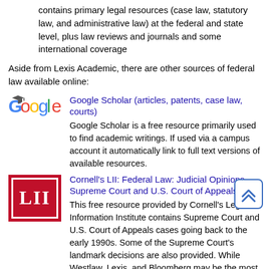contains primary legal resources (case law, statutory law, and administrative law) at the federal and state level, plus law reviews and journals and some international coverage
Aside from Lexis Academic, there are other sources of federal law available online:
[Figure (logo): Google Scholar logo]
Google Scholar (articles, patents, case law, courts)
Google Scholar is a free resource primarily used to find academic writings. If used via a campus account it automatically link to full text versions of available resources.
[Figure (logo): Cornell LII logo - red square with LII text]
Cornell's LII: Federal Law: Judicial Opinions - Supreme Court and U.S. Court of Appeals
This free resource provided by Cornell's Legal Information Institute contains Supreme Court and U.S. Court of Appeals cases going back to the early 1990s. Some of the Supreme Court's landmark decisions are also provided. While Westlaw, Lexis, and Bloomberg may be the most helpful with their useful annotations, if one just needs the text for a quick reference or for free, this will be adequate.
[Figure (logo): FindLaw logo - orange background with white text]
Findlaw
This provides browsing and searching through recent federal case law. There are also walk-throughs on a variety of legal topics/